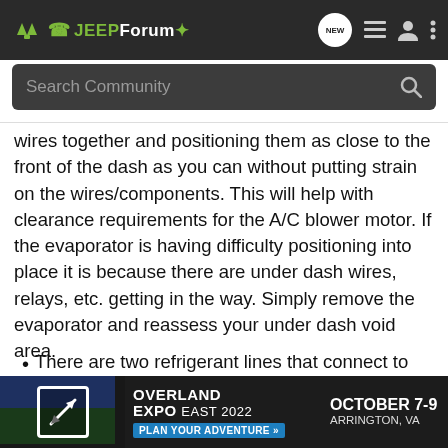JEEPForum
Search Community
wires together and positioning them as close to the front of the dash as you can without putting strain on the wires/components. This will help with clearance requirements for the A/C blower motor. If the evaporator is having difficulty positioning into place it is because there are under dash wires, relays, etc. getting in the way. Simply remove the evaporator and reassess your under dash void area.
There are two refrigerant lines that connect to the evaporator assembly. The thinner line, which is the high-pr... behind th... ver. The
[Figure (screenshot): Overland Expo East 2022 advertisement banner: October 7-9, Arrington, VA, Plan Your Adventure button]